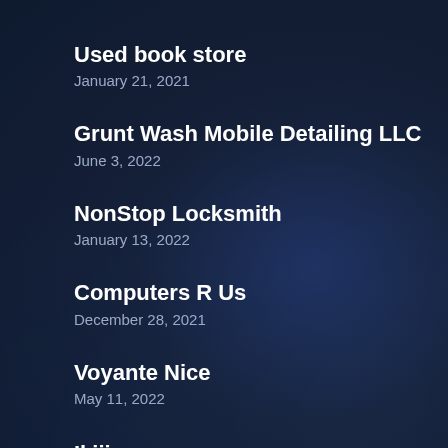Used book store
January 21, 2021
Grunt Wash Mobile Detailing LLC
June 3, 2022
NonStop Locksmith
January 13, 2022
Computers R Us
December 28, 2021
Voyante Nice
May 11, 2022
Ikijime